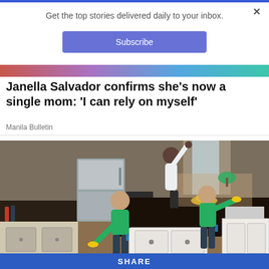Get the top stories delivered daily to your inbox.
Subscribe
Janella Salvador confirms she's now a single mom: 'I can rely on myself'
Manila Bulletin
[Figure (photo): Three women in green shirts cleaning a kitchen; one reaching up in the background, two others wiping the counters and appliances.]
SHARE